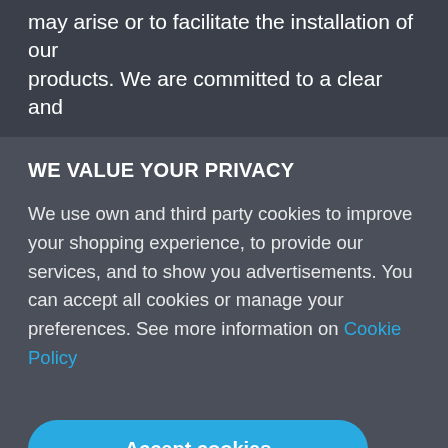may arise or to facilitate the installation of our products. We are committed to a clear and
WE VALUE YOUR PRIVACY
We use own and third party cookies to improve your shopping experience, to provide our services, and to show you advertisements. You can accept all cookies or manage your preferences. See more information on Cookie Policy
Accept cookies
Customize cookies